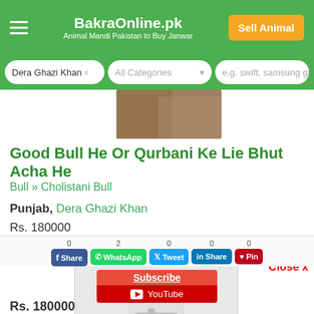BakraOnline.pk — Animal Mandi Pakistan to Buy Janwar
Dera Ghazi Khan × | All Categories ▾ | e.g. swift, samsung ga
[Figure (photo): Partial photo of a brown bull/animal]
Good Bull He Or Qurbani Ke Lie Bhut Acha He
Bull » Cholistani Bull
Punjab, Dera Ghazi Khan
Rs. 180000
Jun 26, 2021
[Figure (photo): Placeholder camera icon image for animal listing]
Close x
0 Facebook Share | 2 WhatsApp | 0 Tweet | 0 LinkedIn Share | 0 Pinterest Pin
Subscribe YouTube
Rs. 180000